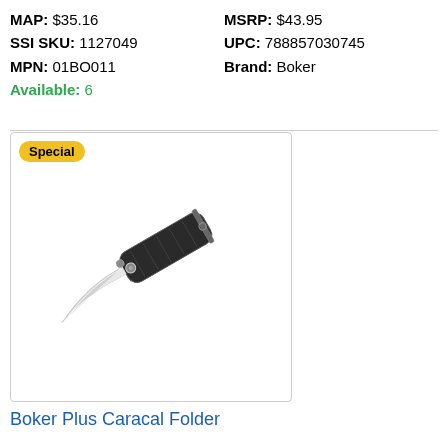MAP: $35.16   MSRP: $43.95
SSI SKU: 1127049   UPC: 788857030745
MPN: 01BO011   Brand: Boker
Available: 6
[Figure (photo): Boker Plus Caracal Folder folding knife with black G10 handle and silver drop-point blade, shown open at an angle. A yellow 'Special' badge appears in the top-left corner of the image frame.]
Boker Plus Caracal Folder